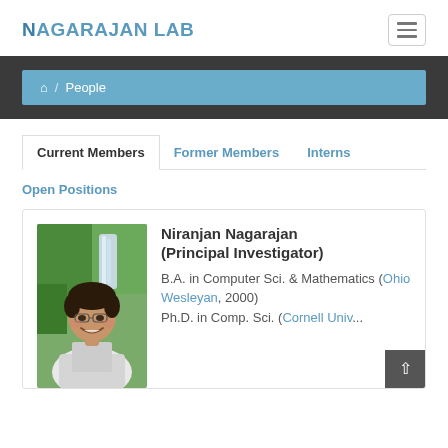NAGARAJAN LAB
People
Current Members | Former Members | Interns
Open Positions
[Figure (photo): Photo of Niranjan Nagarajan, a man smiling outdoors with greenery and a waterfall in the background.]
Niranjan Nagarajan (Principal Investigator)
B.A. in Computer Sci. & Mathematics (Ohio Wesleyan, 2000)
Ph.D. in Comp. Sci. (Cornell Univ...